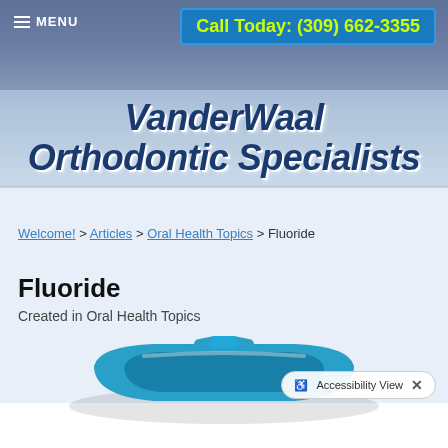MENU | Call Today: (309) 662-3355
VanderWaal Orthodontic Specialists
Welcome! > Articles > Oral Health Topics > Fluoride
Fluoride
Created in Oral Health Topics
[Figure (photo): Blue fluoride dental tray]
Accessibility View X